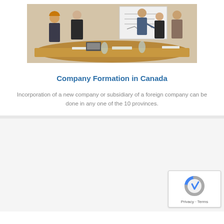[Figure (photo): Business meeting photo showing 5 people in suits around a conference table, one person presenting at a whiteboard]
Company Formation in Canada
Incorporation of a new company or subsidiary of a foreign company can be done in any one of the 10 provinces.
[Figure (other): reCAPTCHA badge with Privacy and Terms links]